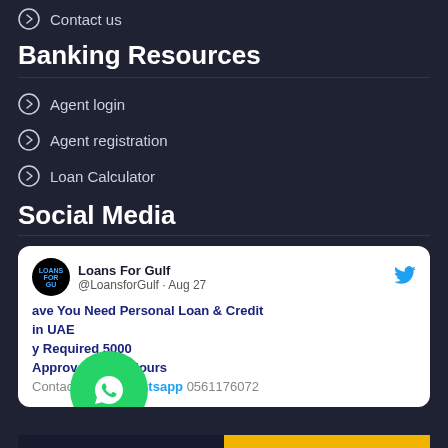Contact us
Banking Resources
Agent login
Agent registration
Loan Calculator
Social Media
[Figure (screenshot): Tweet card from @LoansforGulf dated Aug 27 with WhatsApp button overlay. Text: 'Loans For Gulf @LoansforGulf · Aug 27 [You Need Personal Loan & Credit in UAE, y Required 5000, Approved In 48 Hours, Contact us on #whatsapp 0561176072'. Green WhatsApp icon overlaid on bottom-left of card.]